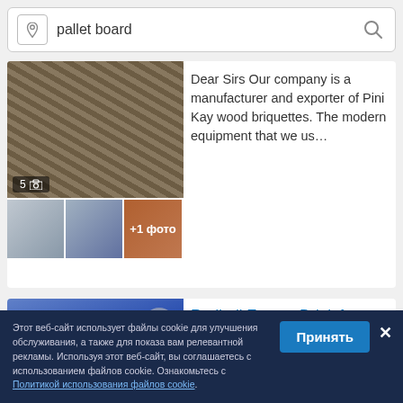[Figure (screenshot): Search bar with location pin icon, text 'pallet board', and magnifying glass icon]
[Figure (photo): Product listing card showing wood briquette images with thumbnail photos. Photo count badge '5'. Thumbnails of cylindrical wood products and '+1 фото' overlay.]
Dear Sirs Our company is a manufacturer and exporter of Pini Kay wood briquettes. The modern equipment that we us…
[Figure (photo): Red Bull Energy Drink can product listing image with heart/favorite button overlay and photo count badge '4']
Redbull Energy Drink for Export
0.89 €/шт
One 40ft container: 33 pallets x 108 trays = 3564 (24 cans /
Этот веб-сайт использует файлы cookie для улучшения обслуживания, а также для показа вам релевантной рекламы. Используя этот веб-сайт, вы соглашаетесь с использованием файлов cookie. Ознакомьтесь с Политикой использования файлов cookie.